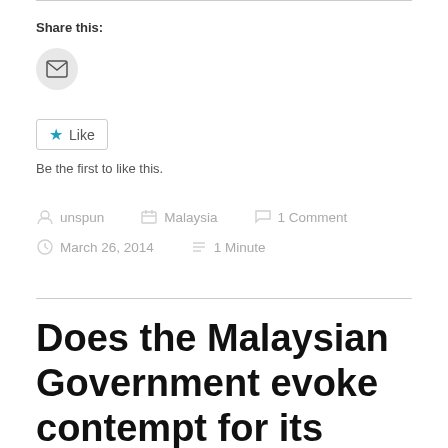Share this:
[Figure (illustration): Circular email/envelope icon button]
[Figure (illustration): Like button with blue star icon and text 'Like']
Be the first to like this.
unspun   Malaysia   1 Comment   March 26, 2014   1 Minute
Does the Malaysian Government evoke contempt for its handling of the MH370 incident?